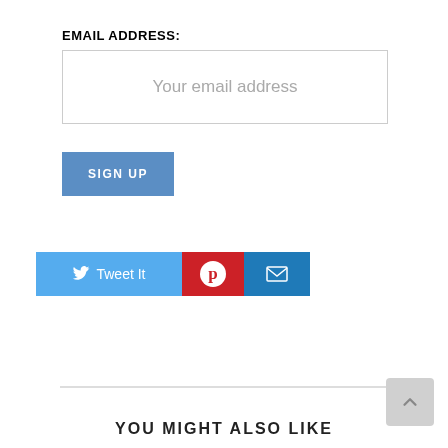EMAIL ADDRESS:
[Figure (screenshot): Email address input field with placeholder text 'Your email address']
[Figure (screenshot): Blue 'SIGN UP' button]
[Figure (infographic): Social sharing buttons: 'f Share On Facebook' (dark blue), 'Tweet It' (light blue), Pinterest (red), Email (blue)]
YOU MIGHT ALSO LIKE